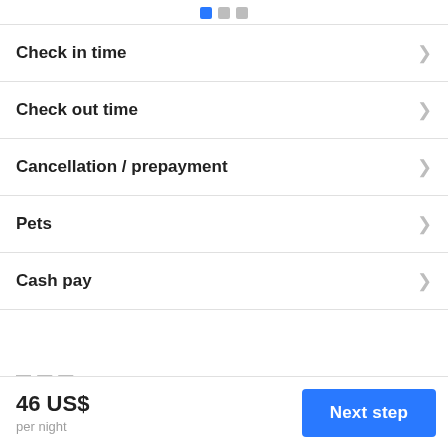[Figure (other): Step indicator with a blue filled square and two gray squares]
Check in time
Check out time
Cancellation / prepayment
Pets
Cash pay
46 US$
per night
Next step